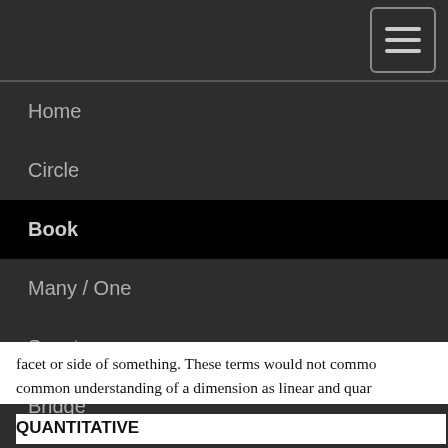Home
Circle
Book
Many / One
Spectrum
Bridge
Database
More
facet or side of something. These terms would not commo... common understanding of a dimension as linear and quar...
QUANTITATIVE